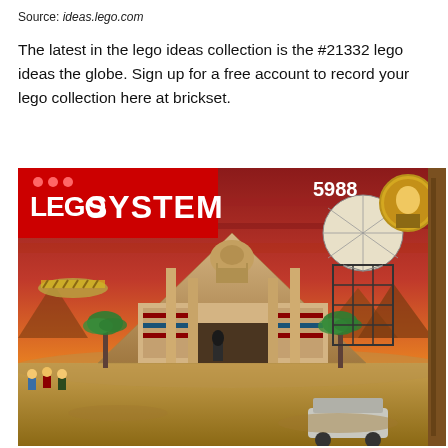Source: ideas.lego.com
The latest in the lego ideas collection is the #21332 lego ideas the globe. Sign up for a free account to record your lego collection here at brickset.
[Figure (photo): LEGO System set #5988 box art showing an Egyptian pyramid adventure scene with minifigures, palm trees, hieroglyphics, and a hot air balloon cage. The LEGO System logo with red brick appears in the top left.]